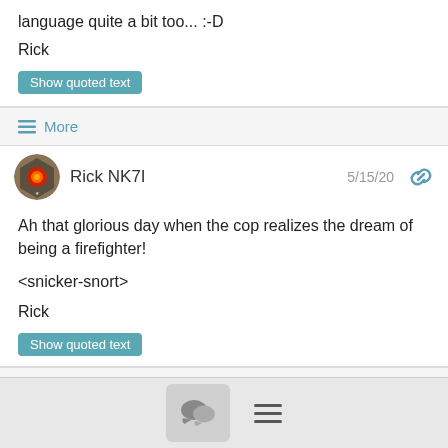language quite a bit too...  :-D
Rick
Show quoted text
≡ More
Rick NK7I
5/15/20
Ah that glorious day when the cop realizes the dream of being a firefighter!
<snicker-snort>
Rick
Show quoted text
≡ More